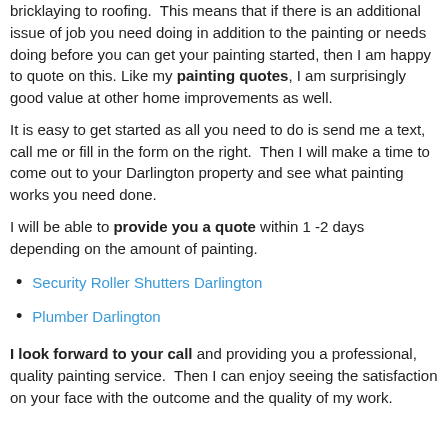bricklaying to roofing.  This means that if there is an additional issue of job you need doing in addition to the painting or needs doing before you can get your painting started, then I am happy to quote on this. Like my painting quotes, I am surprisingly good value at other home improvements as well.
It is easy to get started as all you need to do is send me a text, call me or fill in the form on the right.  Then I will make a time to come out to your Darlington property and see what painting works you need done.
I will be able to provide you a quote within 1 -2 days depending on the amount of painting.
Security Roller Shutters Darlington
Plumber Darlington
I look forward to your call and providing you a professional, quality painting service.  Then I can enjoy seeing the satisfaction on your face with the outcome and the quality of my work.